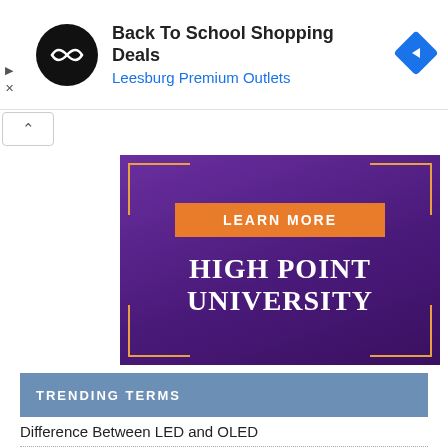[Figure (infographic): Ad banner: Back To School Shopping Deals - Leesburg Premium Outlets with circular black logo and blue diamond arrow icon]
[Figure (infographic): High Point University advertisement with purple gradient background, orange LEARN MORE button, and university name in white serif text]
TRENDING TERMS
Difference Between LED and OLED